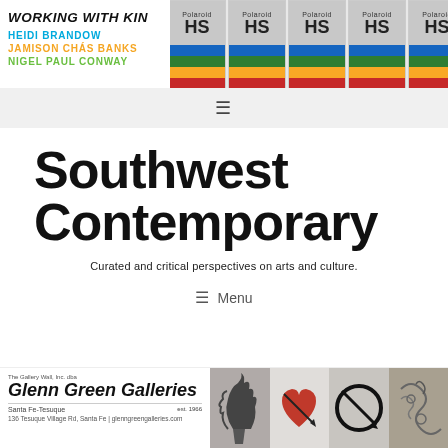[Figure (illustration): Banner with 'WORKING WITH KIN' title in bold italic, artist names HEIDI BRANDOW, JAMISON CHÁS BANKS, NIGEL PAUL CONWAY in colored text, with Polaroid HS film boxes displayed to the right]
≡
Southwest Contemporary
Curated and critical perspectives on arts and culture.
≡ Menu
Close
[Figure (illustration): Glenn Green Galleries advertisement with logo, address 136 Tesuque Village Rd, Santa Fe, glenngreengalleries.com, Santa Fe-Tesuque, est. 1966, with sculpture images]